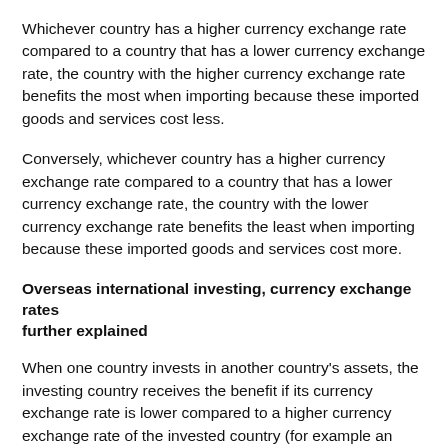Whichever country has a higher currency exchange rate compared to a country that has a lower currency exchange rate, the country with the higher currency exchange rate benefits the most when importing because these imported goods and services cost less.
Conversely, whichever country has a higher currency exchange rate compared to a country that has a lower currency exchange rate, the country with the lower currency exchange rate benefits the least when importing because these imported goods and services cost more.
Overseas international investing, currency exchange rates further explained
When one country invests in another country's assets, the investing country receives the benefit if its currency exchange rate is lower compared to a higher currency exchange rate of the invested country (for example an investor located in Australia invests in the U.S.A.), when payment of any increased monetary benefit is repatriated back from the invested country of the U.S.A. to the investing country which in this